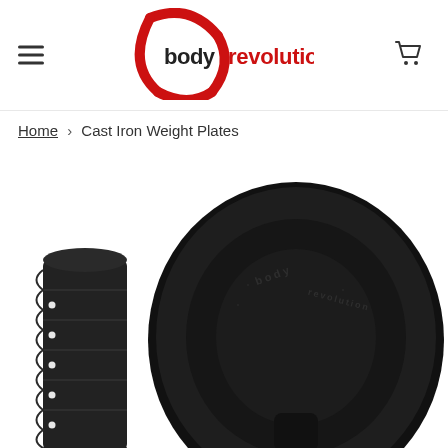[Figure (logo): Body Revolution logo — stylized red circular swoosh with 'body' in black and 'revolution' in red text]
Home › Cast Iron Weight Plates
[Figure (photo): Cast iron weight plates by Body Revolution — large black circular weight plate with embossed 'body revolution' text, alongside a stack of smaller weight plates on the left, shown from a low angle]